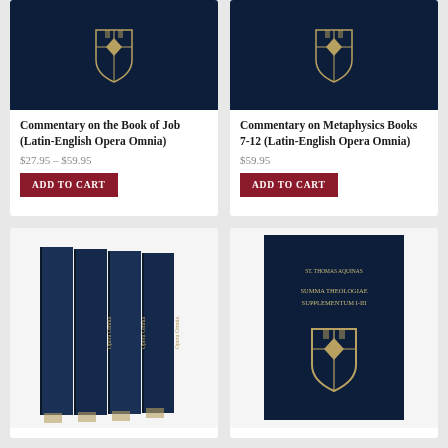[Figure (illustration): Dark navy book cover with gold university crest/shield emblem — Commentary on the Book of Job]
[Figure (illustration): Dark navy book cover with gold university crest/shield emblem — Commentary on Metaphysics Books 7-12]
Commentary on the Book of Job (Latin-English Opera Omnia)
$27.95 – $59.95
ADD TO CART
Commentary on Metaphysics Books 7-12 (Latin-English Opera Omnia)
$59.95
ADD TO CART
[Figure (photo): Set of four dark navy hardcover books standing upright with gold text on spines]
[Figure (illustration): Dark navy softcover book with gold university crest/shield emblem and Latin title text]